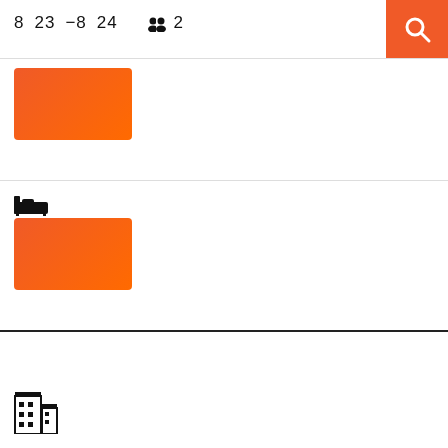8  23  −8  24     👥 2
[Figure (screenshot): Orange search button with magnifying glass icon in top-right corner]
[Figure (other): Orange rectangle (first booking/result card placeholder)]
[Figure (other): Bed icon followed by orange rectangle (second booking/result card placeholder)]
[Figure (other): Building/hotel icon at bottom of page]